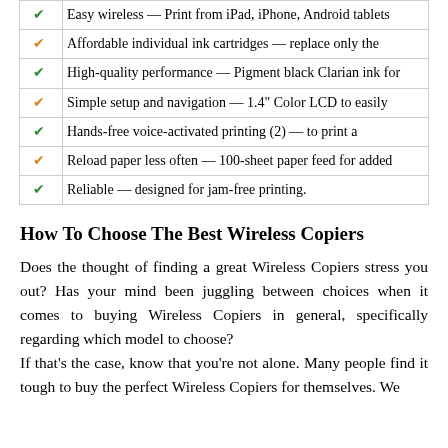Easy wireless — Print from iPad, iPhone, Android tablets
Affordable individual ink cartridges — replace only the
High-quality performance — Pigment black Clarian ink for
Simple setup and navigation — 1.4" Color LCD to easily
Hands-free voice-activated printing (2) — to print a
Reload paper less often — 100-sheet paper feed for added
Reliable — designed for jam-free printing.
How To Choose The Best Wireless Copiers
Does the thought of finding a great Wireless Copiers stress you out? Has your mind been juggling between choices when it comes to buying Wireless Copiers in general, specifically regarding which model to choose?
If that's the case, know that you're not alone. Many people find it tough to buy the perfect Wireless Copiers for themselves. We